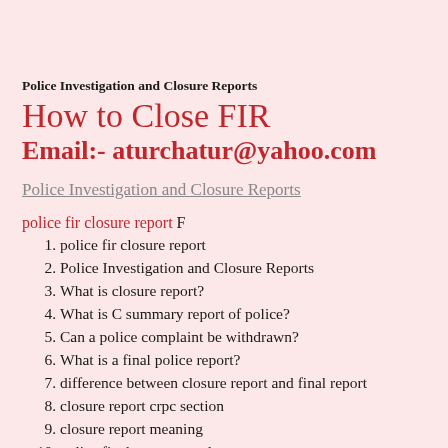Police Investigation and Closure Reports
How to Close FIR
Email:- aturchatur@yahoo.com
Police Investigation and Closure Reports
police fir closure report F
police fir closure report
Police Investigation and Closure Reports
What is closure report?
What is C summary report of police?
Can a police complaint be withdrawn?
What is a final police report?
difference between closure report and final report
closure report crpc section
closure report meaning
police final report sample
protest petition against closure report